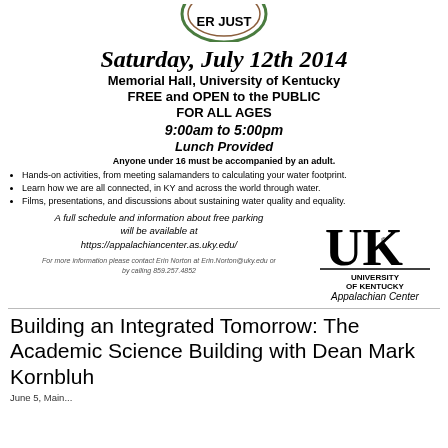[Figure (logo): Partial circular logo with text 'ER JUST' visible at top, green and brown circular emblem]
Saturday, July 12th 2014
Memorial Hall, University of Kentucky
FREE and OPEN to the PUBLIC
FOR ALL AGES
9:00am to 5:00pm
Lunch Provided
Anyone under 16 must be accompanied by an adult.
Hands-on activities, from meeting salamanders to calculating your water footprint.
Learn how we are all connected, in KY and across the world through water.
Films, presentations, and discussions about sustaining water quality and equality.
A full schedule and information about free parking will be available at https://appalachiancenter.as.uky.edu/
For more information please contact Erin Norton at Erin.Norton@uky.edu or by calling 859.257.4852
[Figure (logo): University of Kentucky Appalachian Center logo with UK letters and name]
Building an Integrated Tomorrow: The Academic Science Building with Dean Mark Kornbluh
June 5, Main...